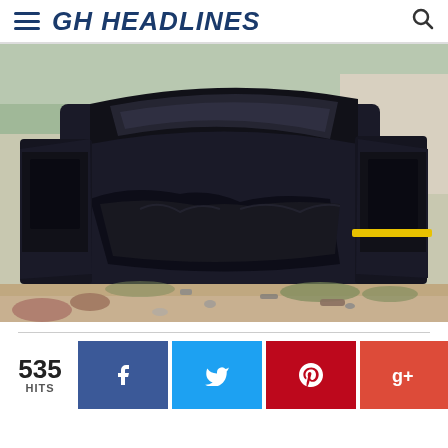GH HEADLINES
[Figure (photo): Severely wrecked dark-colored vehicle with all doors open, front completely crushed, photographed at the scene of a road accident on a dirt roadside with debris scattered around.]
535 HITS
[Figure (infographic): Social media share buttons: Facebook (blue), Twitter (cyan), Pinterest (red), Google+ (red-orange)]